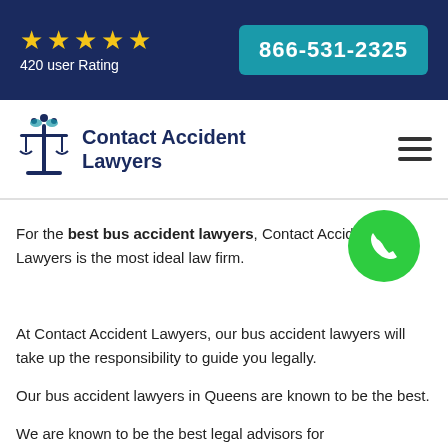420 user Rating | 866-531-2325
[Figure (logo): Contact Accident Lawyers logo with scales of justice icon]
For the best bus accident lawyers, Contact Accident Lawyers is the most ideal law firm.
At Contact Accident Lawyers, our bus accident lawyers will take up the responsibility to guide you legally.
Our bus accident lawyers in Queens are known to be the best.
We are known to be the best legal advisors for car accidents, truck accidents, motorcycle accidents, and bus accidents, giving you complete attention and providing you with the